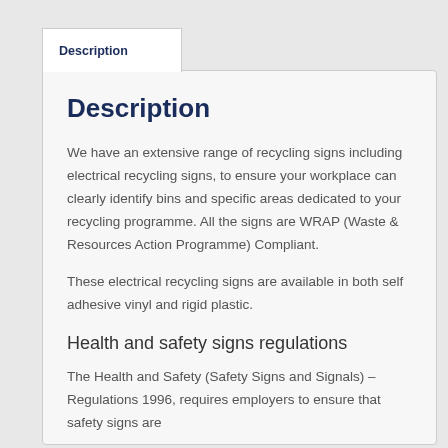Description
Description
We have an extensive range of recycling signs including electrical recycling signs, to ensure your workplace can clearly identify bins and specific areas dedicated to your recycling programme. All the signs are WRAP (Waste & Resources Action Programme) Compliant.
These electrical recycling signs are available in both self adhesive vinyl and rigid plastic.
Health and safety signs regulations
The Health and Safety (Safety Signs and Signals) – Regulations 1996, requires employers to ensure that safety signs are